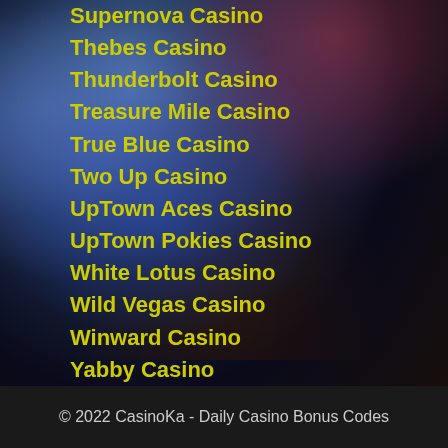Supernova Casino
Thebes Casino
Thunderbolt Casino
Treasure Mile Casino
True Blue Casino
Two Up Casino
UpTown Aces Casino
UpTown Pokies Casino
White Lotus Casino
Wild Vegas Casino
Winward Casino
Yabby Casino
Yebo Casino
© 2022 CasinoKa - Daily Casino Bonus Codes